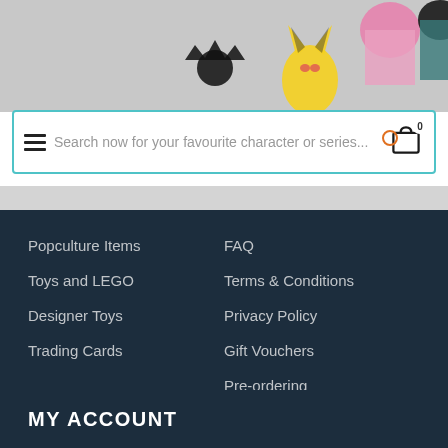[Figure (screenshot): Anime figures including Pikachu and two character figures on grey background, website header image]
[Figure (screenshot): Search bar with hamburger menu icon on left, placeholder text 'Search now for your favourite character or series...', and shopping cart icon with badge '0' on right]
Popculture Items
Toys and LEGO
Designer Toys
Trading Cards
FAQ
Terms & Conditions
Privacy Policy
Gift Vouchers
Pre-ordering
Contact Us
MY ACCOUNT